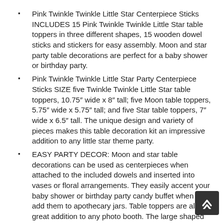Pink Twinkle Twinkle Little Star Centerpiece Sticks INCLUDES 15 Pink Twinkle Twinkle Little Star table toppers in three different shapes, 15 wooden dowel sticks and stickers for easy assembly. Moon and star party table decorations are perfect for a baby shower or birthday party.
Pink Twinkle Twinkle Little Star Party Centerpiece Sticks SIZE five Twinkle Twinkle Little Star table toppers, 10.75″ wide x 8″ tall; five Moon table toppers, 5.75″ wide x 5.75″ tall; and five Star table toppers, 7″ wide x 6.5″ tall. The unique design and variety of pieces makes this table decoration kit an impressive addition to any little star theme party.
EASY PARTY DECOR: Moon and star table decorations can be used as centerpieces when attached to the included dowels and inserted into vases or floral arrangements. They easily accent your baby shower or birthday party candy buffet when you add them to apothecary jars. Table toppers are also a great addition to any photo booth. The large shaped cut outs will make your party pics instantly shareable. Twinkle Little Star centerpiece sticks are sure to make a statement however you choose to use them!